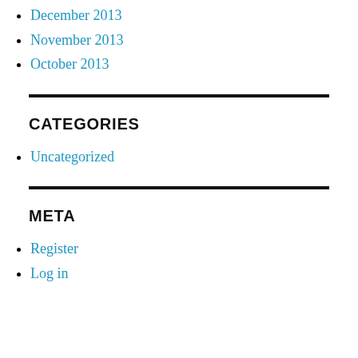December 2013
November 2013
October 2013
CATEGORIES
Uncategorized
META
Register
Log in